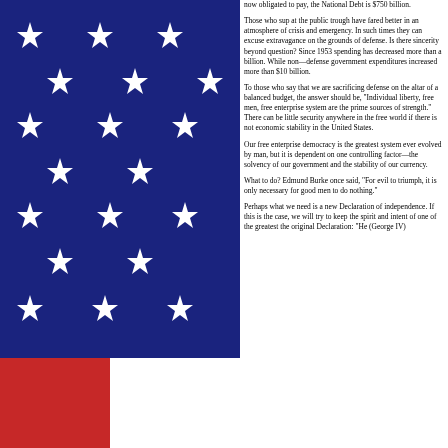[Figure (illustration): American flag close-up showing blue canton with white stars and red/white stripes at bottom]
now obligated to pay, the National Debt is $750 billion.
Those who sup at the public trough have fared better in an atmosphere of crisis and emergency. In such times they can excuse extravagance on the grounds of defense. Is there sincerity beyond question? Since 1953 spending has decreased more than a billion. While non—defense government expenditures increased more than $10 billion.
To those who say that we are sacrificing defense on the altar of a balanced budget, the answer should be, "Individual liberty, free men, free enterprise system are the prime sources of strength." There can be little security anywhere in the free world if there is not economic stability in the United States.
Our free enterprise democracy is the greatest system ever evolved by man, but it is dependent on one controlling factor—the solvency of our government and the stability of our currency.
What to do? Edmund Burke once said, "For evil to triumph, it is only necessary for good men to do nothing."
Perhaps what we need is a new Declaration of independence. If this is the case, we will try to keep the spirit and intent of one of the greatest the original Declaration: "He (George IV)